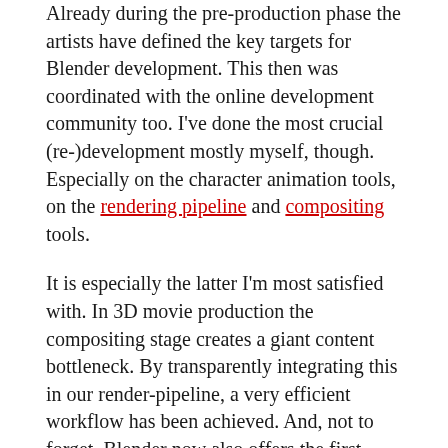Already during the pre-production phase the artists have defined the key targets for Blender development. This then was coordinated with the online development community too. I've done the most crucial (re-)development mostly myself, though. Especially on the character animation tools, on the rendering pipeline and compositing tools.
It is especially the latter I'm most satisfied with. In 3D movie production the compositing stage creates a giant content bottleneck. By transparently integrating this in our render-pipeline, a very efficient workflow has been achieved. And, not to forget, Blender now also offers the first production-level open source compositor on the market!
The current summary you can find in our work-in-